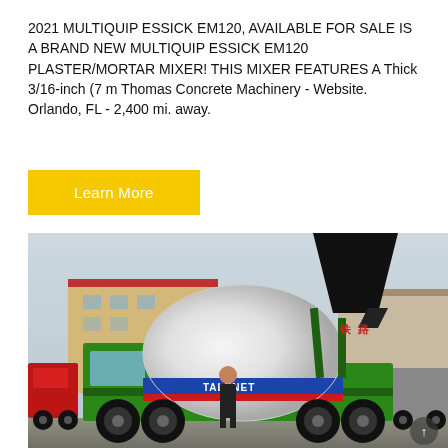2021 MULTIQUIP ESSICK EM120, AVAILABLE FOR SALE IS A BRAND NEW MULTIQUIP ESSICK EM120 PLASTER/MORTAR MIXER! THIS MIXER FEATURES A Thick 3/16-inch (7 m Thomas Concrete Machinery - Website. Orlando, FL - 2,400 mi. away.
Learn More
[Figure (photo): A green self-loading concrete mixer truck branded 'TALENET', with a large rotating drum, hopper raised at the back, and a person standing in front. Other trucks and an industrial building are visible in the background.]